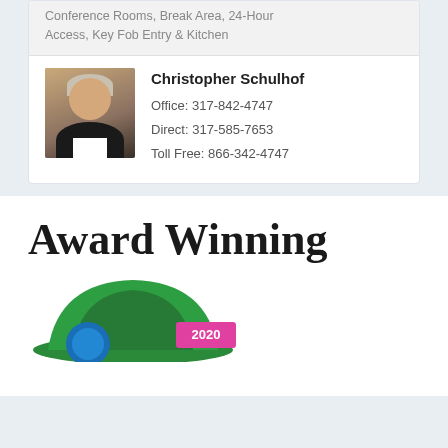Conference Rooms, Break Area, 24-Hour Access, Key Fob Entry & Kitchen
Christopher Schulhof
Office: 317-842-4747
Direct: 317-585-7653
Toll Free: 866-342-4747
[Figure (photo): Professional headshot of Christopher Schulhof, a middle-aged man with light gray hair wearing a dark suit and white shirt]
Award Winning
[Figure (logo): Green award badge/logo with '2020' text in pink/magenta on a white label]